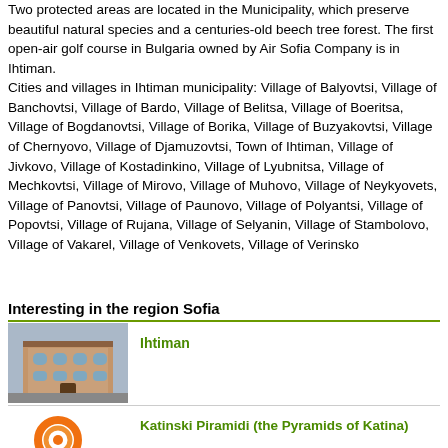Two protected areas are located in the Municipality, which preserve beautiful natural species and a centuries-old beech tree forest. The first open-air golf course in Bulgaria owned by Air Sofia Company is in Ihtiman. Cities and villages in Ihtiman municipality: Village of Balyovtsi, Village of Banchovtsi, Village of Bardo, Village of Belitsa, Village of Boeritsa, Village of Bogdanovtsi, Village of Borika, Village of Buzyakovtsi, Village of Chernyovo, Village of Djamuzovtsi, Town of Ihtiman, Village of Jivkovo, Village of Kostadinkino, Village of Lyubnitsa, Village of Mechkovtsi, Village of Mirovo, Village of Muhovo, Village of Neykyovets, Village of Panovtsi, Village of Paunovo, Village of Polyantsi, Village of Popovtsi, Village of Rujana, Village of Selyanin, Village of Stambolovo, Village of Vakarel, Village of Venkovets, Village of Verinsko
Interesting in the region Sofia
[Figure (photo): Photo of a building in Ihtiman — old multi-story structure with arched windows]
Ihtiman
[Figure (logo): Bulgaria tourism logo — orange swirl spiral with text 'BULGARIA' in Cyrillic]
Katinski Piramidi (the Pyramids of Katina)